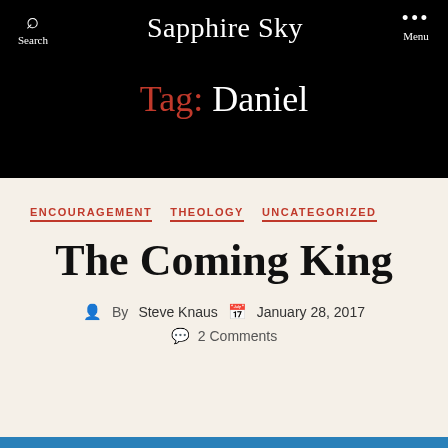Sapphire Sky
Tag: Daniel
ENCOURAGEMENT  THEOLOGY  UNCATEGORIZED
The Coming King
By Steve Knaus  January 28, 2017  2 Comments